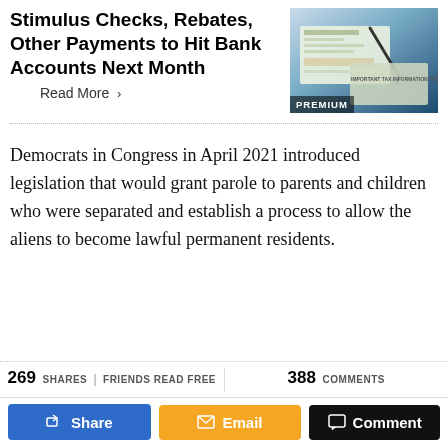Stimulus Checks, Rebates, Other Payments to Hit Bank Accounts Next Month
[Figure (photo): Photo of a stimulus check with a pen and tax information envelope, labeled PREMIUM]
Read More >
Democrats in Congress in April 2021 introduced legislation that would grant parole to parents and children who were separated and establish a process to allow the aliens to become lawful permanent residents.
269 SHARES | FRIENDS READ FREE   388 COMMENTS   Share   Email   Comment